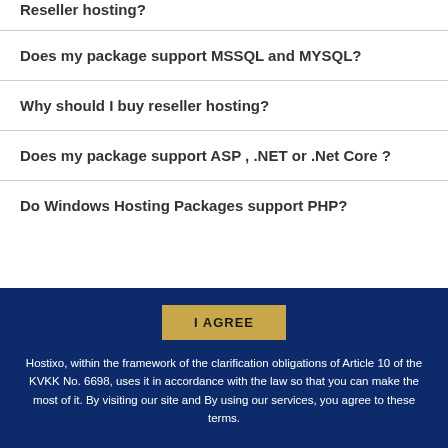Reseller hosting?
Does my package support MSSQL and MYSQL?
Why should I buy reseller hosting?
Does my package support ASP , .NET or .Net Core ?
Do Windows Hosting Packages support PHP?
Hostixo, within the framework of the clarification obligations of Article 10 of the KVKK No. 6698, uses it in accordance with the law so that you can make the most of it. By visiting our site and By using our services, you agree to these terms.